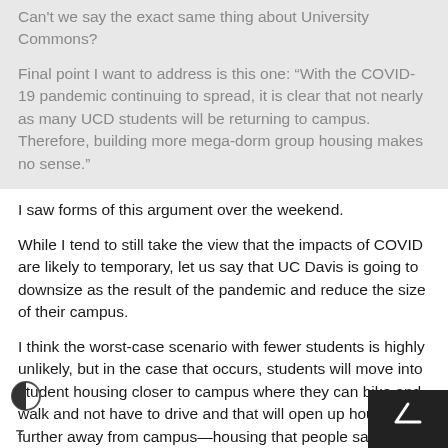Can't we say the exact same thing about University Commons?
Final point I want to address is this one: “With the COVID-19 pandemic continuing to spread, it is clear that not nearly as many UCD students will be returning to campus. Therefore, building more mega-dorm group housing makes no sense.”
I saw forms of this argument over the weekend.
While I tend to still take the view that the impacts of COVID are likely to temporary, let us say that UC Davis is going to downsize as the result of the pandemic and reduce the size of their campus.
I think the worst-case scenario with fewer students is highly unlikely, but in the case that occurs, students will move into student housing closer to campus where they can bike and walk and not have to drive and that will open up housing further away from campus—housing that people say we need anyway.
What's the rush?  Housing is never rushed.  It always takes a lot of time.  I first sat down and met with the developers on that project in 2017—that was three years ago.  By no measure ca